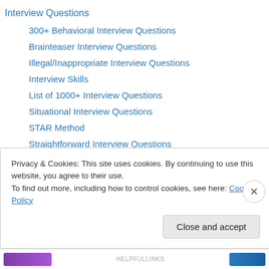Interview Questions
300+ Behavioral Interview Questions
Brainteaser Interview Questions
Illegal/Inappropriate Interview Questions
Interview Skills
List of 1000+ Interview Questions
Situational Interview Questions
STAR Method
Straightforward Interview Questions
Literary Analysis
Character Theories and Types
Characterization
Conflict (Literature)
Privacy & Cookies: This site uses cookies. By continuing to use this website, you agree to their use. To find out more, including how to control cookies, see here: Cookie Policy
Close and accept